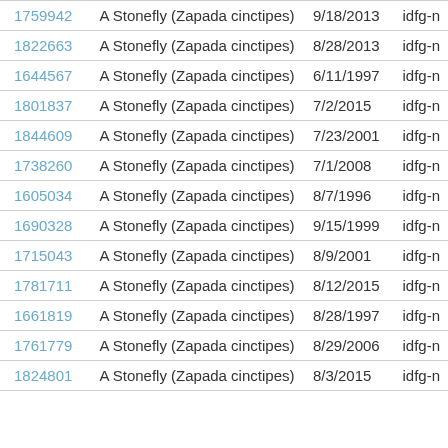| ID | Name | Date | Source |
| --- | --- | --- | --- |
| 1759942 | A Stonefly (Zapada cinctipes) | 9/18/2013 | idfg-n |
| 1822663 | A Stonefly (Zapada cinctipes) | 8/28/2013 | idfg-n |
| 1644567 | A Stonefly (Zapada cinctipes) | 6/11/1997 | idfg-n |
| 1801837 | A Stonefly (Zapada cinctipes) | 7/2/2015 | idfg-n |
| 1844609 | A Stonefly (Zapada cinctipes) | 7/23/2001 | idfg-n |
| 1738260 | A Stonefly (Zapada cinctipes) | 7/1/2008 | idfg-n |
| 1605034 | A Stonefly (Zapada cinctipes) | 8/7/1996 | idfg-n |
| 1690328 | A Stonefly (Zapada cinctipes) | 9/15/1999 | idfg-n |
| 1715043 | A Stonefly (Zapada cinctipes) | 8/9/2001 | idfg-n |
| 1781711 | A Stonefly (Zapada cinctipes) | 8/12/2015 | idfg-n |
| 1661819 | A Stonefly (Zapada cinctipes) | 8/28/1997 | idfg-n |
| 1761779 | A Stonefly (Zapada cinctipes) | 8/29/2006 | idfg-n |
| 1824801 | A Stonefly (Zapada cinctipes) | 8/3/2015 | idfg-n |